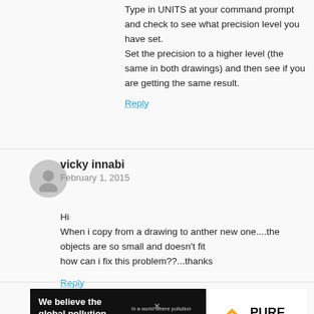Type in UNITS at your command prompt and check to see what precision level you have set.
Set the precision to a higher level (the same in both drawings) and then see if you are getting the same result.
Reply
[Figure (illustration): Gray circular avatar icon of a person silhouette]
vicky innabi
February 1, 2015
Hi
When i copy from a drawing to anther new one....the objects are so small and doesn't fit
how can i fix this problem??...thanks
Reply
[Figure (infographic): Pure Earth advertisement banner. Left black section: 'We believe the global pollution crisis can be solved.' Right white section: Pure Earth logo with tagline 'In a world where pollution doesn't stop at borders, we can all be part of the solution. JOIN US.']